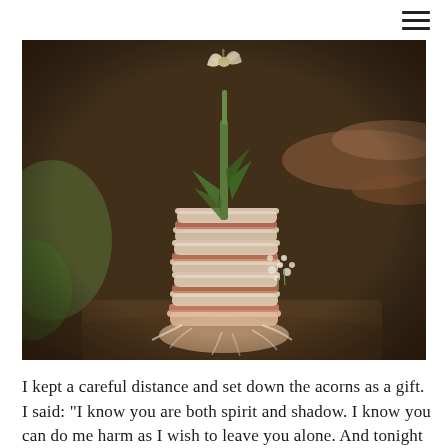[hamburger menu icon]
[Figure (photo): A close-up photograph of a stacked, layered object resembling a miniature tower or nest made from bark, paper, and natural materials, with dried plant stems and small white fluffy flowers attached. The background is a blurred forest floor with moss, leaves, and organic debris.]
I kept a careful distance and set down the acorns as a gift. I said: "I know you are both spirit and shadow. I know you can do me harm as I wish to leave you alone. And tonight I will l...